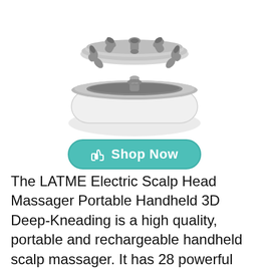[Figure (photo): Gray and white electric scalp head massager device shown disassembled, with the massaging head (featuring multiple silicone finger-like contacts) separated above the white rounded base/body of the device. Viewed from above at an angle.]
Shop Now
The LATME Electric Scalp Head Massager Portable Handheld 3D Deep-Kneading is a high quality, portable and rechargeable handheld scalp massager. It has 28 powerful contacts that are